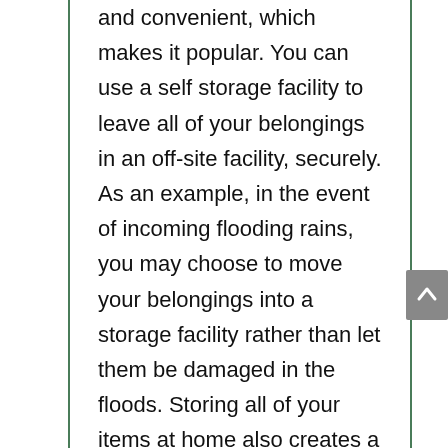and convenient, which makes it popular. You can use a self storage facility to leave all of your belongings in an off-site facility, securely. As an example, in the event of incoming flooding rains, you may choose to move your belongings into a storage facility rather than let them be damaged in the floods. Storing all of your items at home also creates a sense of clutter, while keeping them off-site in a storage facility allows you to keep all of your precious memories without having to compromise on the space you have available at home. As a final measure, when you are moving houses, a